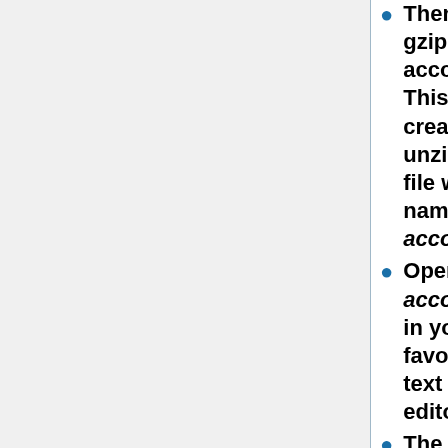Then run gzip -d accounts.gz. This will create an unzipped file with the name of accounts
Open up accounts in your favorite text editor.
The GnuCash xml format is pretty simple, but there is probably going to be a lot of data to wade through. You're going to have to start at the top of what you want to delete and work your way down.
If you're deleting a Customer, then you start there, then move down to all its jobs and then down to all the invoices and finally to the entries (but you shouldn't have to do this if you cleared out the invoices)